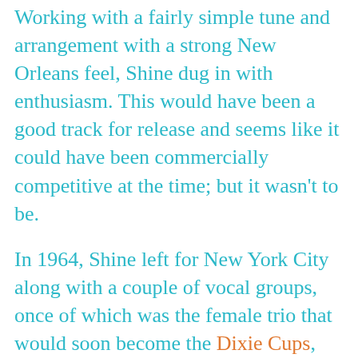Working with a fairly simple tune and arrangement with a strong New Orleans feel, Shine dug in with enthusiasm. This would have been a good track for release and seems like it could have been commercially competitive at the time; but it wasn't to be.
In 1964, Shine left for New York City along with a couple of vocal groups, once of which was the female trio that would soon become the Dixie Cups, manger/promoter Joe Jones and the rest of the band. Jones had made a previous trip up and approached famed songwriters Jerry Leiber and Mike Stoller, who were branching out into production and their own labels, about recording his artists. When they heard the demo tapes, they jumped at the chance, signed them, and hired the